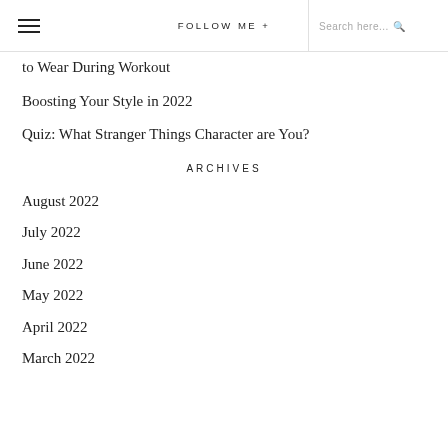≡  FOLLOW ME +  Search here...
to Wear During Workout
Boosting Your Style in 2022
Quiz: What Stranger Things Character are You?
ARCHIVES
August 2022
July 2022
June 2022
May 2022
April 2022
March 2022